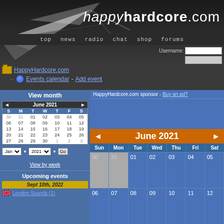happyhardcore.com — TOP | news | radio | chat | shop | forums
Username: [input] [login button]
HappyHardcore.com > Events calendar - Add event
| View month | June 2021 | S M T W T F S |
| --- | --- | --- |
| 30 | 31 | 01 | 02 | 03 | 04 | 05 |
| 06 | 07 | 08 | 09 | 10 | 11 | 12 |
| 13 | 14 | 15 | 16 | 17 | 18 | 19 |
| 20 | 21 | 22 | 23 | 24 | 25 | 26 |
| 27 | 28 | 29 | 30 | 1 | 2 | 3 |
Jan ▼  2021 ▼  Go
View by week
Upcoming events
Sept 10th, 2022
London Sounds (1)
HappyHardcore.com sponsor - Buy an ad?
[Figure (other): Large calendar for June 2021 showing days Sun-Sat with dates 30-31 greyed out (prev month), then 01-12 visible in first two rows]
| Sun | Mon | Tue | Wed | Thu | Fri | Sat |
| --- | --- | --- | --- | --- | --- | --- |
| 30 | 31 | 01 | 02 | 03 | 04 | 05 |
| 06 | 07 | 08 | 09 | 10 | 11 | 12 |